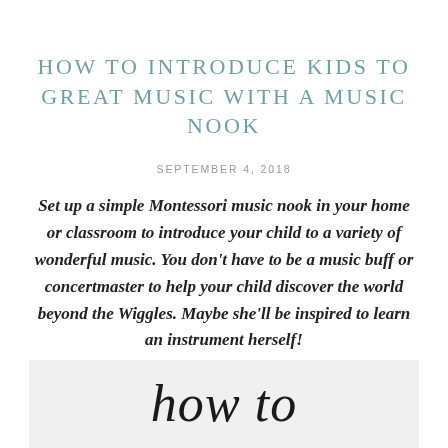HOW TO INTRODUCE KIDS TO GREAT MUSIC WITH A MUSIC NOOK
SEPTEMBER 4, 2018
Set up a simple Montessori music nook in your home or classroom to introduce your child to a variety of wonderful music. You don't have to be a music buff or concertmaster to help your child discover the world beyond the Wiggles. Maybe she'll be inspired to learn an instrument herself!
[Figure (photo): Partial image showing italic text 'how to' in a decorative serif font on a light background, appearing to be the top of an image or graphic related to the article.]